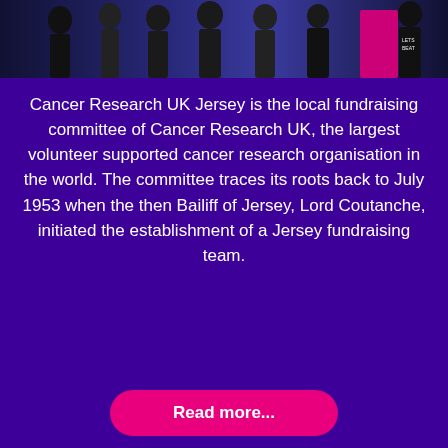[Figure (photo): Group photo of people standing together at an event, with one person wearing a 'LETS BEAT' shirt visible on the right]
Cancer Research UK Jersey is the local fundraising committee of Cancer Research UK, the largest volunteer supported cancer research organisation in the world. The committee traces its roots back to July 1953 when the then Bailiff of Jersey, Lord Coutanche, initiated the establishment of a Jersey fundraising team.
Read more...
BACK TO TOP
News
Donate
Sign Up